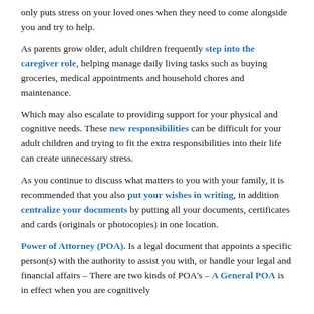only puts stress on your loved ones when they need to come alongside you and try to help.
As parents grow older, adult children frequently step into the caregiver role, helping manage daily living tasks such as buying groceries, medical appointments and household chores and maintenance.
Which may also escalate to providing support for your physical and cognitive needs. These new responsibilities can be difficult for your adult children and trying to fit the extra responsibilities into their life can create unnecessary stress.
As you continue to discuss what matters to you with your family, it is recommended that you also put your wishes in writing, in addition centralize your documents by putting all your documents, certificates and cards (originals or photocopies) in one location.
Power of Attorney (POA). Is a legal document that appoints a specific person(s) with the authority to assist you with, or handle your legal and financial affairs – There are two kinds of POA's – A General POA is in effect when you are cognitively